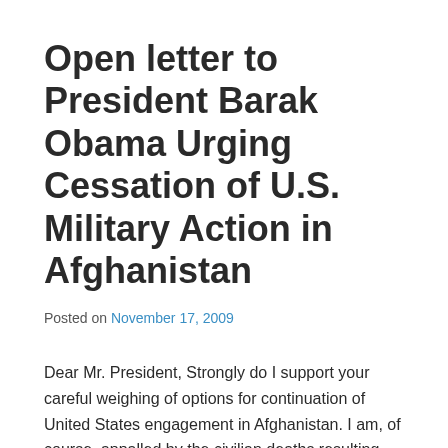Open letter to President Barak Obama Urging Cessation of U.S. Military Action in Afghanistan
Posted on November 17, 2009
Dear Mr. President, Strongly do I support your careful weighing of options for continuation of United States engagement in Afghanistan. I am, of course, appalled by the civilian deaths resulting from our ground and air military action. It is noted that Defense Secretary Robert Gates has himself acknowledged the counter-productive